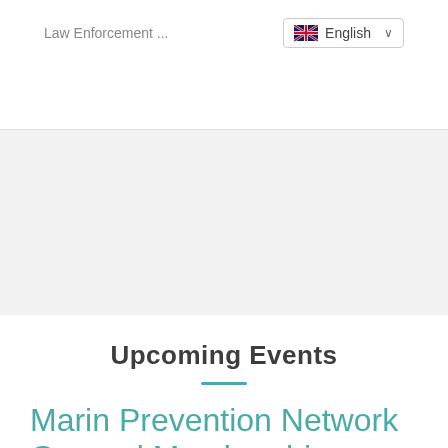Law Enforcement ...
English
Upcoming Events
Marin Prevention Network General Membership Meeting